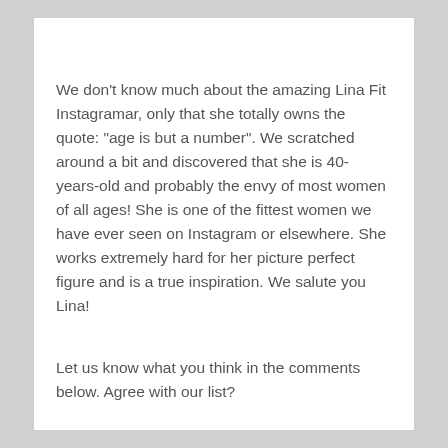We don't know much about the amazing Lina Fit Instagramar, only that she totally owns the quote: “age is but a number”. We scratched around a bit and discovered that she is 40-years-old and probably the envy of most women of all ages! She is one of the fittest women we have ever seen on Instagram or elsewhere. She works extremely hard for her picture perfect figure and is a true inspiration. We salute you Lina!
Let us know what you think in the comments below. Agree with our list?